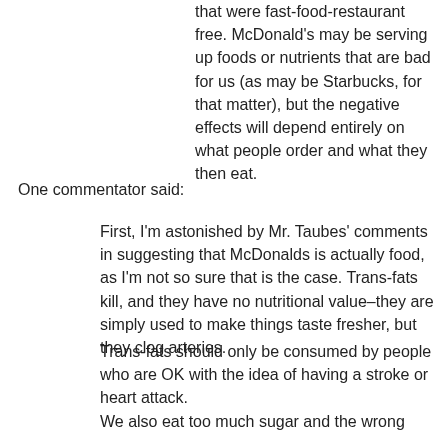that were fast-food-restaurant free. McDonald's may be serving up foods or nutrients that are bad for us (as may be Starbucks, for that matter), but the negative effects will depend entirely on what people order and what they then eat.
One commentator said:
First, I'm astonished by Mr. Taubes' comments in suggesting that McDonalds is actually food, as I'm not so sure that is the case. Trans-fats kill, and they have no nutritional value–they are simply used to make things taste fresher, but they clog arteries.
Trans-fats should only be consumed by people who are OK with the idea of having a stroke or heart attack.
We also eat too much sugar and the wrong